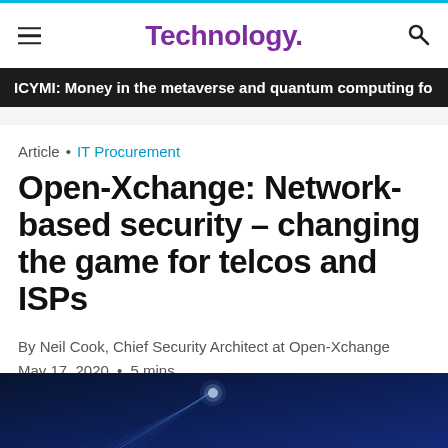Technology.
ICYMI: Money in the metaverse and quantum computing fo
Article • IT Procurement
Open-Xchange: Network-based security – changing the game for telcos and ISPs
By Neil Cook, Chief Security Architect at Open-Xchange
May 17, 2020 • 5 mins
[Figure (photo): Dark blue background with glowing light streaks and a small illuminated object, representing network/technology concept]